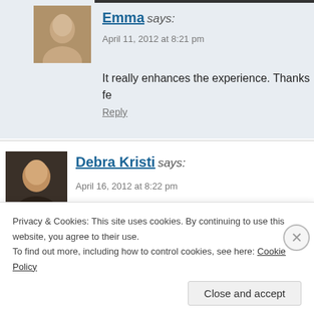Emma says: April 11, 2012 at 8:21 pm
It really enhances the experience. Thanks fe
Reply
Debra Kristi says: April 16, 2012 at 8:22 pm
Ooh! I missed this post as it went up while I was out of selections. 🙂
Privacy & Cookies: This site uses cookies. By continuing to use this website, you agree to their use.
To find out more, including how to control cookies, see here: Cookie Policy
Close and accept